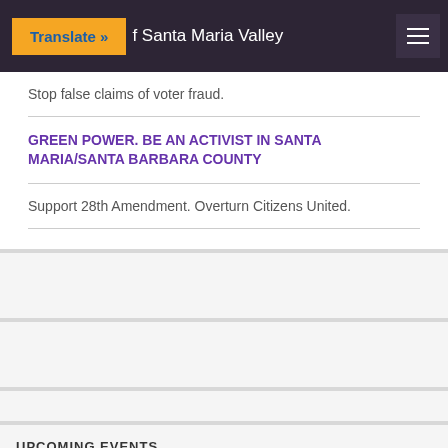Translate » [D...] of Santa Maria Valley
Stop false claims of voter fraud.
GREEN POWER. BE AN ACTIVIST IN SANTA MARIA/SANTA BARBARA COUNTY
Support 28th Amendment. Overturn Citizens United.
UPCOMING EVENTS
7:00 pm IN PERSON MEETINGS. Democratic ... @ JUCB Pa...